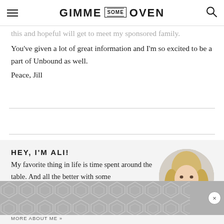GIMME SOME OVEN
…this and hopeful will get to meet my sponsored family. You've given a lot of great information and I'm so excited to be a part of Unbound as well.
Peace, Jill
HEY, I'M ALI!
My favorite thing in life is time spent around the table. And all the better with some
[Figure (photo): Circular portrait photo of a smiling blonde woman]
MORE ABOUT ME »